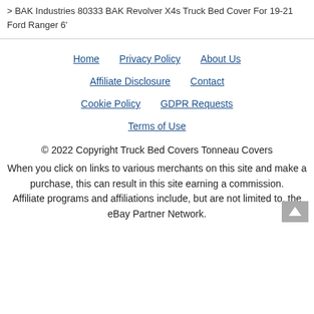> BAK Industries 80333 BAK Revolver X4s Truck Bed Cover For 19-21 Ford Ranger 6'
Home  Privacy Policy  About Us  Affiliate Disclosure  Contact  Cookie Policy  GDPR Requests  Terms of Use
© 2022 Copyright Truck Bed Covers Tonneau Covers
When you click on links to various merchants on this site and make a purchase, this can result in this site earning a commission. Affiliate programs and affiliations include, but are not limited to, the eBay Partner Network.